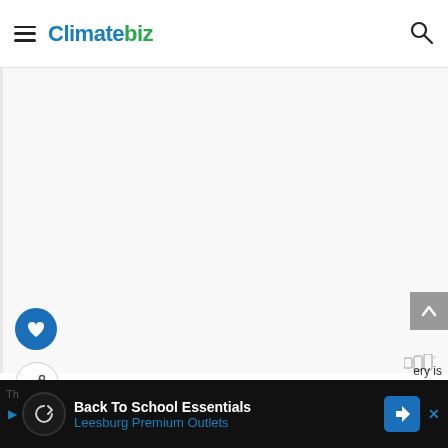Climatebiz
[Figure (screenshot): Advertisement banner reading 'FALL IN LOVE' with a dog image on a blue gradient background]
[Figure (screenshot): Floating social buttons: heart/like button (dark blue circle) and share button (white circle with share icon)]
[Figure (screenshot): Back to top button (grey arrow up)]
[Figure (screenshot): Bottom advertisement bar: 'Back To School Essentials - Leesburg Premium Outlets' with navigation arrow icon]
Th... ery is